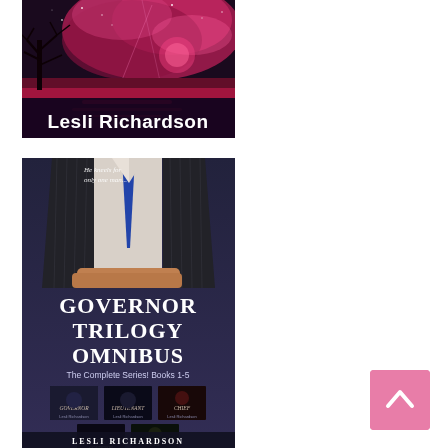[Figure (illustration): Book cover for Lesli Richardson: dark pink/red nebula sky with a bare tree silhouette on the left, pink glowing horizon water, with author name 'Lesli Richardson' in white text at the bottom.]
[Figure (illustration): Book cover for 'Governor Trilogy Omnibus: The Complete Series! Books 1-5' by Lesli Richardson. Shows a headless man in a dark pinstripe suit with arms crossed. Tagline 'He kneels for only one man...' at top. Five smaller book covers at the bottom: Governor, Lieutenant, Chief, Yes Governor, Pet. Author name 'Lesli Richardson' at the bottom.]
[Figure (illustration): Pink scroll-to-top button with a white upward-pointing chevron/caret arrow, positioned in the bottom-right corner.]